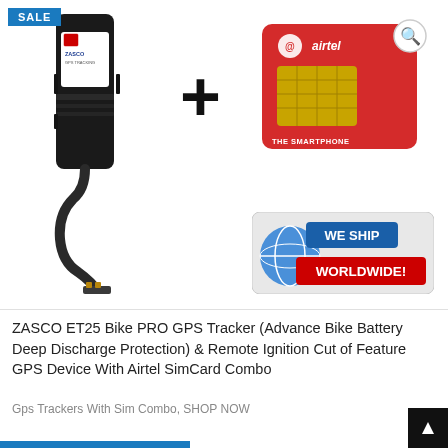[Figure (photo): Product listing image showing a ZASCO GPS tracker device on the left, a plus sign in the center, an Airtel SIM card on the upper right, and a 'We Ship Worldwide!' badge on the lower right. A SALE badge is in the top left corner.]
ZASCO ET25 Bike PRO GPS Tracker (Advance Bike Battery Deep Discharge Protection) & Remote Ignition Cut of Feature GPS Device With Airtel SimCard Combo
Gps Trackers With Sim Combo, SHOP NOW